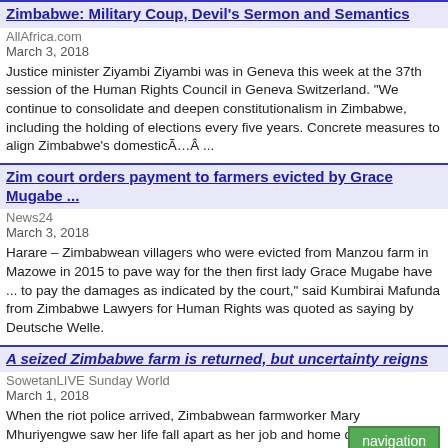Zimbabwe: Military Coup, Devil's Sermon and Semantics
AllAfrica.com
March 3, 2018
Justice minister Ziyambi Ziyambi was in Geneva this week at the 37th session of the Human Rights Council in Geneva Switzerland. "We continue to consolidate and deepen constitutionalism in Zimbabwe, including the holding of elections every five years. Concrete measures to align Zimbabwe's domesticÃ…Â ...
Zim court orders payment to farmers evicted by Grace Mugabe ...
News24
March 3, 2018
Harare – Zimbabwean villagers who were evicted from Manzou farm in Mazowe in 2015 to pave way for the then first lady Grace Mugabe have ... to pay the damages as indicated by the court," said Kumbirai Mafunda from Zimbabwe Lawyers for Human Rights was quoted as saying by Deutsche Welle.
A seized Zimbabwe farm is returned, but uncertainty reigns
SowetanLIVE Sunday World
March 1, 2018
When the riot police arrived, Zimbabwean farmworker Mary Mhuriyengwe saw her life fall apart as her job and home disappeared i... land ... Zimbabwe has effectively halted land invasions, a ... down from a policy that contributed to human rights abuses, lawlessness